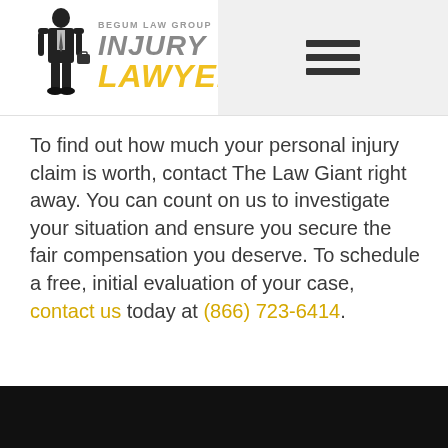[Figure (logo): Begum Law Group Injury Lawyers logo with a suited figure holding a briefcase, text reading BEGUM LAW GROUP, INJURY, LAWYERS in grey and yellow]
To find out how much your personal injury claim is worth, contact The Law Giant right away. You can count on us to investigate your situation and ensure you secure the fair compensation you deserve. To schedule a free, initial evaluation of your case, contact us today at (866) 723-6414.